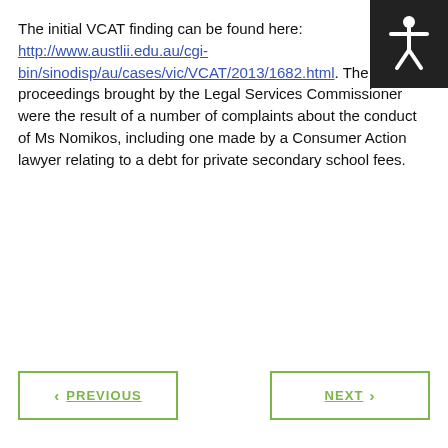The initial VCAT finding can be found here: http://www.austlii.edu.au/cgi-bin/sinodisp/au/cases/vic/VCAT/2013/1682.html. The proceedings brought by the Legal Services Commissioner were the result of a number of complaints about the conduct of Ms Nomikos, including one made by a Consumer Action lawyer relating to a debt for private secondary school fees.
PREVIOUS | NEXT